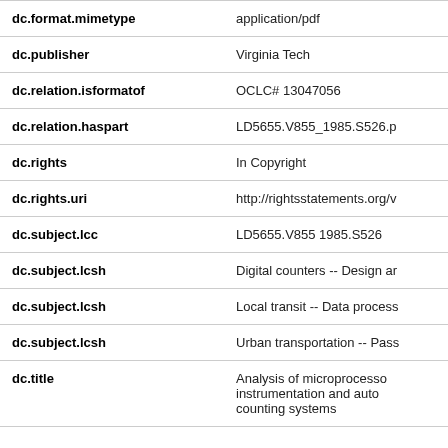| Field | Value |
| --- | --- |
| dc.format.mimetype | application/pdf |
| dc.publisher | Virginia Tech |
| dc.relation.isformatof | OCLC# 13047056 |
| dc.relation.haspart | LD5655.V855_1985.S526.p |
| dc.rights | In Copyright |
| dc.rights.uri | http://rightsstatements.org/v |
| dc.subject.lcc | LD5655.V855 1985.S526 |
| dc.subject.lcsh | Digital counters -- Design ar |
| dc.subject.lcsh | Local transit -- Data process |
| dc.subject.lcsh | Urban transportation -- Pass |
| dc.title | Analysis of microprocesso instrumentation and auto counting systems |